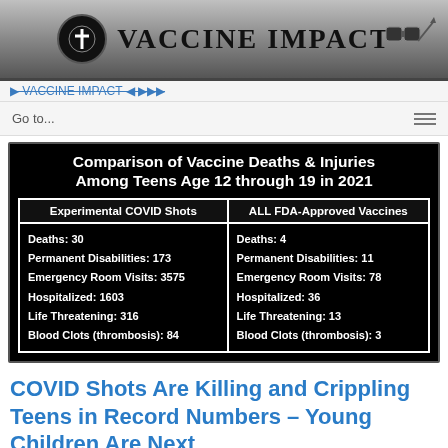[Figure (logo): Vaccine Impact website header banner with logo circle containing cross, site name 'VACCINE IMPACT', and binoculars icon on right]
Go to...
| Experimental COVID Shots | ALL FDA-Approved Vaccines |
| --- | --- |
| Deaths: 30
Permanent Disabilities: 173
Emergency Room Visits: 3575
Hospitalized: 1603
Life Threatening: 316
Blood Clots (thrombosis): 84 | Deaths: 4
Permanent Disabilities: 11
Emergency Room Visits: 78
Hospitalized: 36
Life Threatening: 13
Blood Clots (thrombosis): 3 |
COVID Shots Are Killing and Crippling Teens in Record Numbers – Young Children Are Next